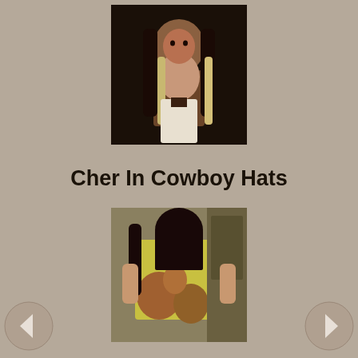[Figure (photo): Photo of two people, one behind the other, black hair prominent, against dark background]
Cher In Cowboy Hats
[Figure (photo): Photo of a person in a cowboy/western outfit with colorful pattern, viewed from behind]
Search
Submit
Categories
Books (12)
Cher in Art & Literature (61)